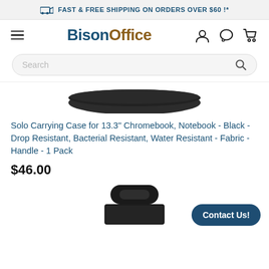FAST & FREE SHIPPING ON ORDERS OVER $60 !*
[Figure (logo): BisonOffice logo with hamburger menu, user icon, chat icon, and cart icon]
[Figure (other): Search bar with magnifying glass icon]
[Figure (photo): Product image top portion of a black carrying case]
Solo Carrying Case for 13.3" Chromebook, Notebook - Black - Drop Resistant, Bacterial Resistant, Water Resistant - Fabric - Handle - 1 Pack
$46.00
[Figure (photo): Product image bottom portion showing handle of black carrying case]
Contact Us!